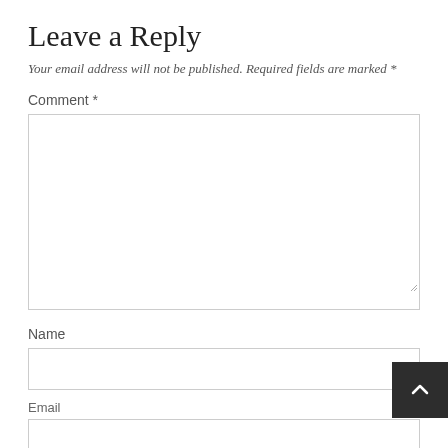Leave a Reply
Your email address will not be published. Required fields are marked *
Comment *
[Figure (screenshot): Comment text area input box, large empty textarea]
Name
[Figure (screenshot): Name text input box]
Email
[Figure (screenshot): Email text input box, partially visible]
[Figure (other): Back to top button, dark grey square with upward chevron arrow icon, bottom right corner]